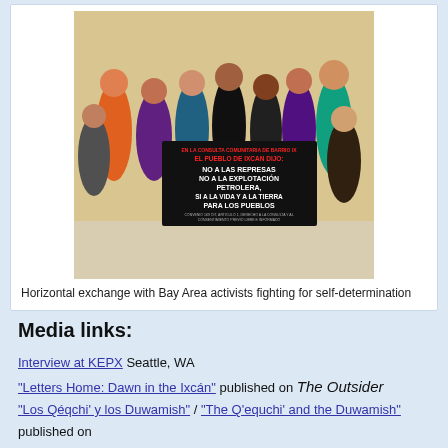[Figure (photo): Group photo of approximately 20 people standing and kneeling together holding a large banner in Spanish that reads: 'EL PUEBLO DE IXCAN DIJO: NO A LAS REPRESAS NO A LA EXPLOTACIÓN PETROLERA, SI A LA VIDA Y A LA TIERRA PARA LOS PUEBLOS' with smaller text below about consultation rights. The setting appears to be indoors with a light yellow wall.]
Horizontal exchange with Bay Area activists fighting for self-determination
Media links:
Interview at KEPX Seattle, WA
"Letters Home: Dawn in the Ixcán" published on The Outsider
"Los Qéqchi' y los Duwamish" / "The Q'equchi' and the Duwamish" published on El Salmón